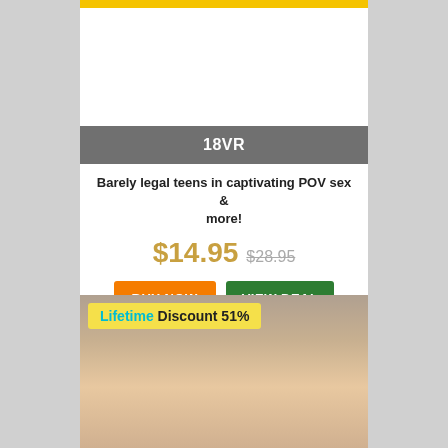18VR
Barely legal teens in captivating POV sex & more!
$14.95  $28.95
BUY NOW
VIEW DEAL
Lifetime Discount 51%
[Figure (photo): Promotional adult content image with balloons in background]